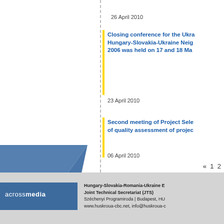26 April 2010
Closing conference for the Hungary-Slovakia-Ukraine Neighbourhood Programme 2006 was held on 17 and 18 May
23 April 2010
Second meeting of Project Selection Committee and results of quality assessment of projects
06 April 2010
« 1 2
Hungary-Slovakia-Romania-Ukraine ENPI CBC Programme
Joint Technical Secretariat (JTS)
Széchenyi Programiroda | Budapest, HU
www.huskroua-cbc.net, info@huskroua-cbc.net